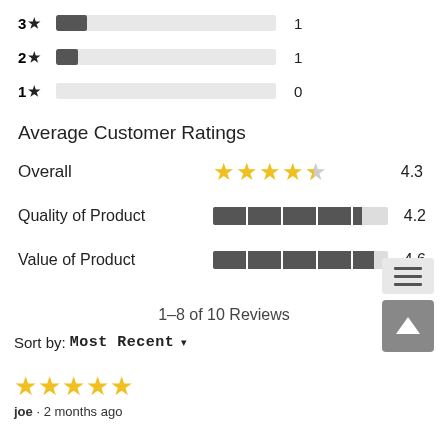[Figure (bar-chart): Star rating distribution (partial)]
Average Customer Ratings
Overall 4.3
Quality of Product 4.2
Value of Product 4.6
1–8 of 10 Reviews
Sort by: Most Recent ▾
[Figure (other): Scroll-to-top and menu buttons]
[Figure (other): 5-star review icon row]
joe · 2 months ago